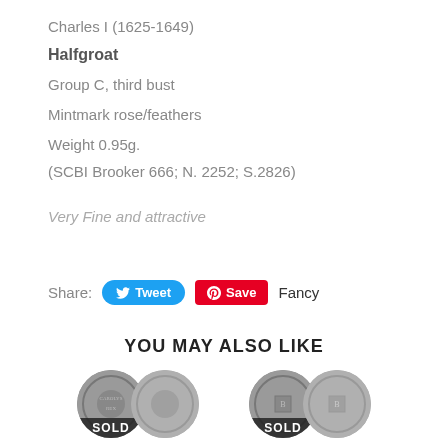Charles I (1625-1649)
Halfgroat
Group C, third bust
Mintmark rose/feathers
Weight 0.95g.
(SCBI Brooker 666; N. 2252; S.2826)
Very Fine and attractive
Share:
YOU MAY ALSO LIKE
[Figure (photo): Two pairs of coin images each labeled SOLD, showing historical coins from the era of Charles I]
SOLD
SOLD